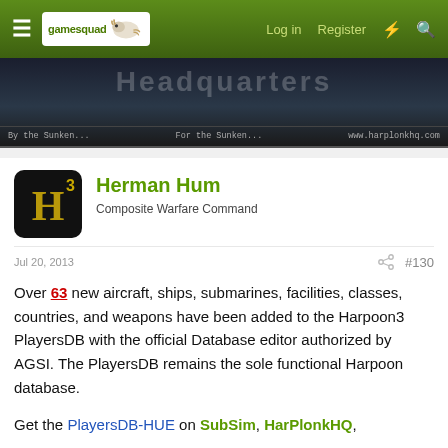gamesquad | Log in | Register
[Figure (screenshot): HarpionHQ banner image showing 'headquarters' text with 'By the Sunken... For the Sunken... www.harplonkhq.com']
Herman Hum
Composite Warfare Command
Jul 20, 2013 #130
Over 63 new aircraft, ships, submarines, facilities, classes, countries, and weapons have been added to the Harpoon3 PlayersDB with the official Database editor authorized by AGSI. The PlayersDB remains the sole functional Harpoon database.
Get the PlayersDB-HUE on SubSim, HarPlonkHQ,